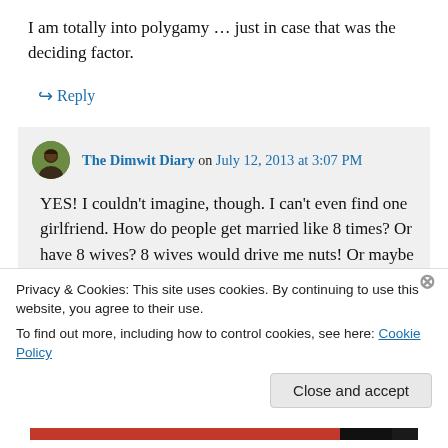I am totally into polygamy … just in case that was the deciding factor.
↪ Reply
The Dimwit Diary on July 12, 2013 at 3:07 PM
YES! I couldn't imagine, though. I can't even find one girlfriend. How do people get married like 8 times? Or have 8 wives? 8 wives would drive me nuts! Or maybe that's
Privacy & Cookies: This site uses cookies. By continuing to use this website, you agree to their use.
To find out more, including how to control cookies, see here: Cookie Policy
Close and accept